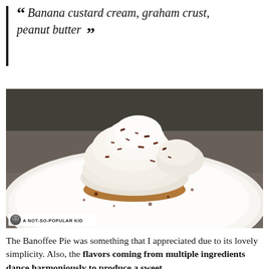“ Banana custard cream, graham crust, peanut butter ”
[Figure (photo): A banana cream pie with graham cracker crust on a white plate, topped with whipped cream and chocolate shavings. Watermark reads: A NOT-SO-POPULAR KID]
The Banoffee Pie was something that I appreciated due to its lovely simplicity. Also, the flavors coming from multiple ingredients dance harmoniously to produce a sweet